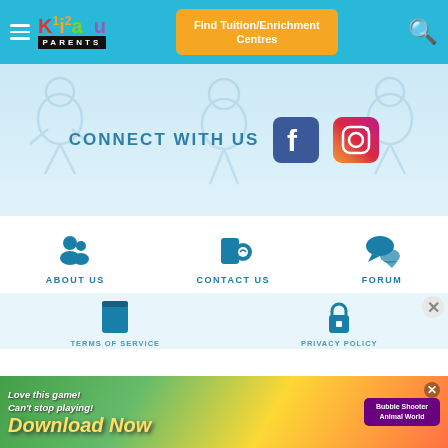Kiasuparents – Find Tuition/Enrichment Centres
[Figure (screenshot): Website header with hamburger menu, Kiasu Parents logo, Find Tuition/Enrichment Centres button, and search icon on teal background]
[Figure (infographic): Connect With Us banner with Facebook and Instagram social media icons on light blue background with cartoon children watermark]
CONNECT WITH US
[Figure (infographic): Footer navigation with About Us, Contact Us, and Forum icons and labels]
ABOUT US
CONTACT US
FORUM
TERMS OF SERVICE
PRIVACY POLICY
[Figure (screenshot): Advertisement banner: Love this game! Can't stop playing! Download Now – Bubble Shooter Animal World]